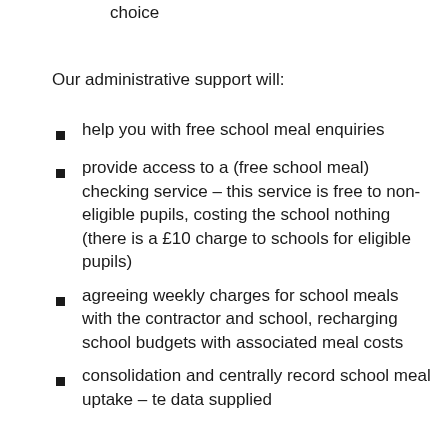choice
Our administrative support will:
help you with free school meal enquiries
provide access to a (free school meal) checking service – this service is free to non-eligible pupils, costing the school nothing (there is a £10 charge to schools for eligible pupils)
agreeing weekly charges for school meals with the contractor and school, recharging school budgets with associated meal costs
consolidation and centrally record school meal uptake – te data supplied